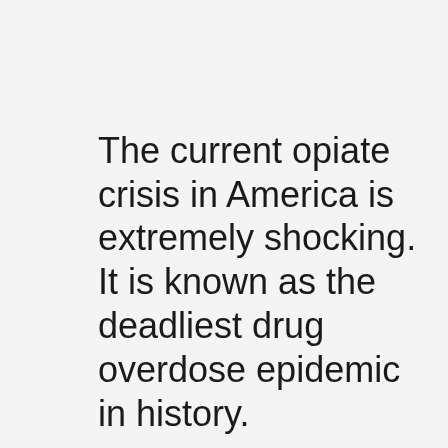The current opiate crisis in America is extremely shocking. It is known as the deadliest drug overdose epidemic in history.